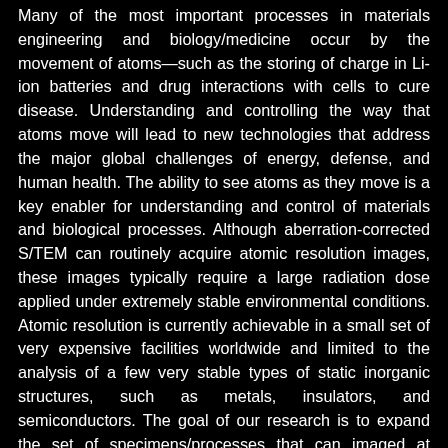Many of the most important processes in materials engineering and biology/medicine occur by the movement of atoms—such as the storing of charge in Li-ion batteries and drug interactions with cells to cure disease. Understanding and controlling the way that atoms move will lead to new technologies that address the major global challenges of energy, defense, and human health. The ability to see atoms as they move is a key enabler for understanding and control of materials and biological processes. Although aberration-corrected S/TEM can routinely acquire atomic resolution images, these images typically require a large radiation dose applied under extremely stable environmental conditions. Atomic resolution is currently achievable in a small set of very expensive facilities worldwide and limited to the analysis of a few very stable types of static inorganic structures, such as metals, insulators, and semiconductors. The goal of our research is to expand the set of specimens/processes that can imaged at atomic resolution (especially for organic/biological materials and fast chemical reactions), and enable precise,